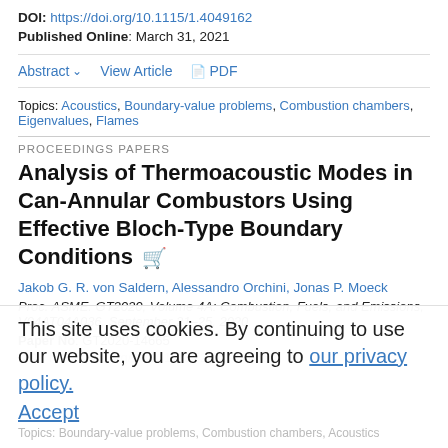DOI: https://doi.org/10.1115/1.4049162
Published Online: March 31, 2021
Abstract ∨   View Article   PDF
Topics: Acoustics, Boundary-value problems, Combustion chambers, Eigenvalues, Flames
PROCEEDINGS PAPERS
Analysis of Thermoacoustic Modes in Can-Annular Combustors Using Effective Bloch-Type Boundary Conditions
Jakob G. R. von Saldern, Alessandro Orchini, Jonas P. Moeck
Proc. ASME. GT2020, Volume 4A: Combustion, Fuels, and Emissions, V04AT04A036, September 21–25, 2020
Paper No: GT2020-14665
DOI: https://doi.org/10.1115/GT2020-14665
This site uses cookies. By continuing to use our website, you are agreeing to our privacy policy. Accept
Topics: Boundary-value problems, Combustion chambers, Acoustics